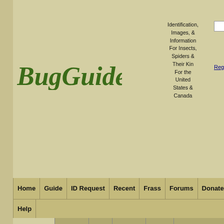[Figure (logo): BugGuide logo in dark green stylized font]
Identification, Images, & Information For Insects, Spiders & Their Kin For the United States & Canada
Search
Register · Log In
Home | Guide | ID Request | Recent | Frass | Forums | Donate | Help
Clickable Guide
[Figure (illustration): Clickable guide illustration showing various insects: moths, butterflies, caterpillar, dragonfly, mosquito, mantis, grasshopper, beetles, wasps, flies]
Taxonomy | Browse | Info | Images | Links
Home » Guide » Arthropods (Arthropoda) » Hexapods... » "Acalyptratae" » Tephritoidea » Fruit Flies (T...) » Procecidochares » Procecidochares atra
Photo#838430